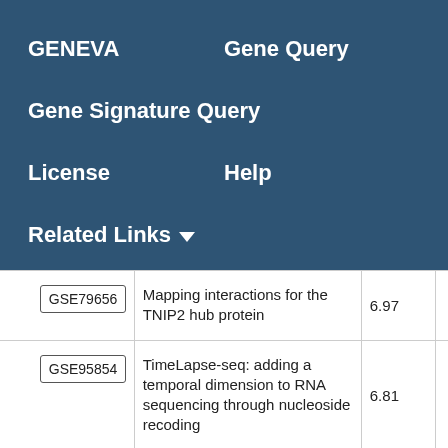GENEVA   Gene Query
Gene Signature Query
License   Help
Related Links ▼
|  | Description | Score |
| --- | --- | --- |
| GSE79656 | Mapping interactions for the TNIP2 hub protein | 6.97 |
| GSE95854 | TimeLapse-seq: adding a temporal dimension to RNA sequencing through nucleoside recoding | 6.81 |